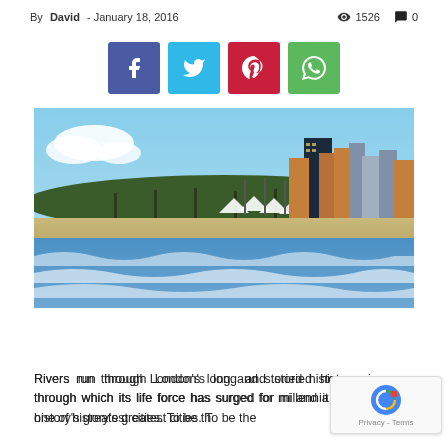By David - January 18, 2016  1526  0
[Figure (other): Social share buttons: Facebook, Twitter, Pinterest, WhatsApp]
[Figure (photo): Beach and city skyline photo showing ocean waves, sandy beach, trees, and tall buildings under a blue sky]
Rivers run through London's long and storied history, veins through which its life force has surged for millennia, and it is one of history's greatest cities. To be the...